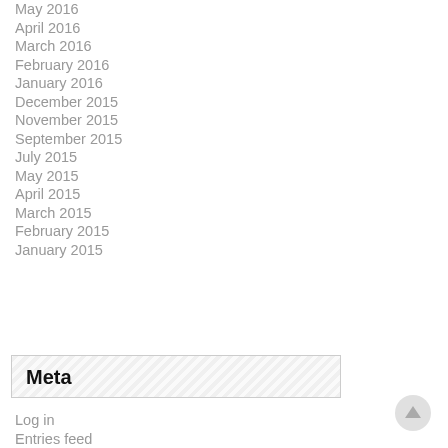May 2016
April 2016
March 2016
February 2016
January 2016
December 2015
November 2015
September 2015
July 2015
May 2015
April 2015
March 2015
February 2015
January 2015
Meta
Log in
Entries feed
Comments feed